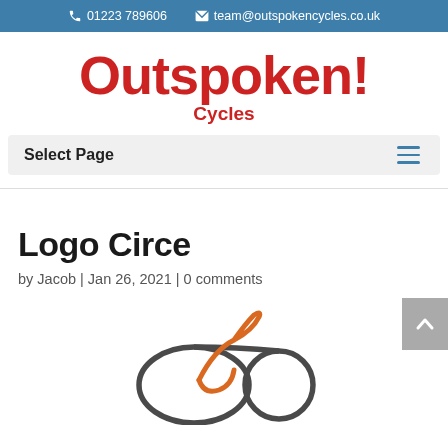📞 01223 789606  ✉ team@outspokencycles.co.uk
Outspoken! Cycles
Select Page
Logo Circe
by Jacob | Jan 26, 2021 | 0 comments
[Figure (logo): Outspoken Cycles circular bicycle logo — stylized bicycle made from an infinity/figure-8 shape in dark grey with an orange swoosh/rider accent]